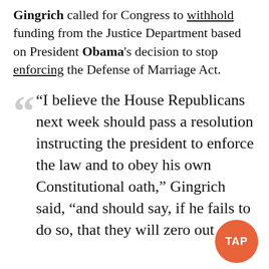Gingrich called for Congress to withhold funding from the Justice Department based on President Obama's decision to stop enforcing the Defense of Marriage Act.
“I believe the House Republicans next week should pass a resolution instructing the president to enforce the law and to obey his own Constitutional oath,” Gingrich said, “and should say, if he fails to do so, that they will zero out